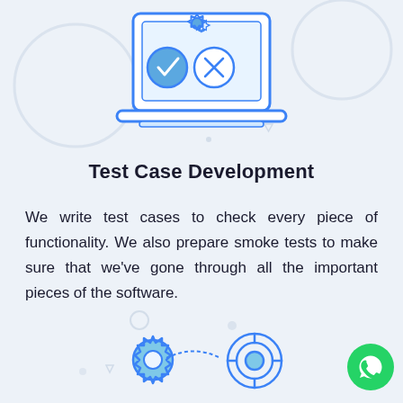[Figure (illustration): Laptop screen with gear icons and checkmark/X icons, with decorative circular shapes in background (blue and gray outlines)]
Test Case Development
We write test cases to check every piece of functionality. We also prepare smoke tests to make sure that we've gone through all the important pieces of the software.
[Figure (illustration): Two interlocking gear icons with a connected circular target/lifecycle icon, rendered in blue outline style with light blue fill. Decorative small circles in background.]
[Figure (logo): Green WhatsApp button icon in bottom right corner]